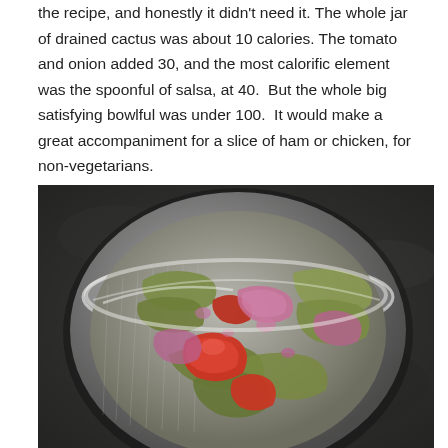the recipe, and honestly it didn't need it. The whole jar of drained cactus was about 10 calories. The tomato and onion added 30, and the most calorific element was the spoonful of salsa, at 40. But the whole big satisfying bowlful was under 100. It would make a great accompaniment for a slice of ham or chicken, for non-vegetarians.
[Figure (photo): A glass bowl containing a salad of cactus (nopales), diced tomatoes, and chopped red onion, photographed from above on a dark background.]